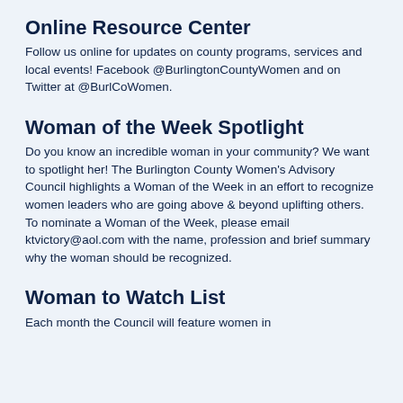Online Resource Center
Follow us online for updates on county programs, services and local events! Facebook @BurlingtonCountyWomen and on Twitter at @BurlCoWomen.
Woman of the Week Spotlight
Do you know an incredible woman in your community? We want to spotlight her! The Burlington County Women's Advisory Council highlights a Woman of the Week in an effort to recognize women leaders who are going above & beyond uplifting others. To nominate a Woman of the Week, please email ktvictory@aol.com with the name, profession and brief summary why the woman should be recognized.
Woman to Watch List
Each month the Council will feature women in